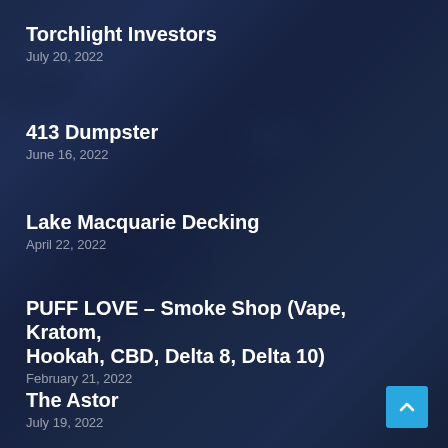Torchlight Investors
July 20, 2022
413 Dumpster
June 16, 2022
Lake Macquarie Decking
April 22, 2022
PUFF LOVE – Smoke Shop (Vape, Kratom, Hookah, CBD, Delta 8, Delta 10)
February 21, 2022
The Astor
July 19, 2022